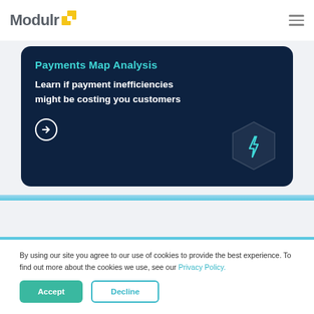[Figure (logo): Modulr logo with yellow square icon and grey text]
[Figure (illustration): Dark navy card with 'Payments Map Analysis' title in cyan, subtitle text, arrow-circle button, hexagon with lightning bolt icon]
By using our site you agree to our use of cookies to provide the best experience. To find out more about the cookies we use, see our Privacy Policy.
Accept
Decline